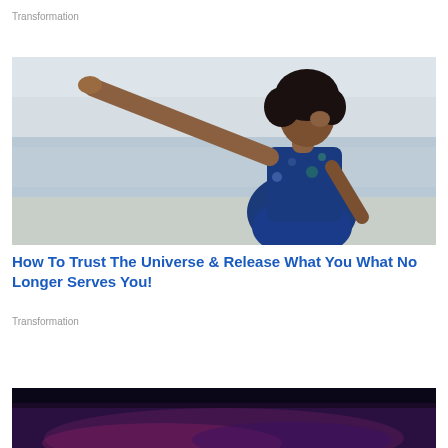Transformation
[Figure (photo): Woman in a dark blue floral dress with arms outstretched at a beach, looking upward, freedom pose]
How To Trust The Universe & Release What You What No Longer Serves You!
Transformation
[Figure (photo): Dark moody image with purple and pink hues, partially visible at bottom of page]